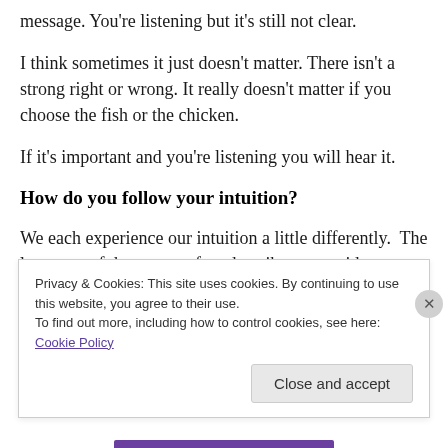message. You're listening but it's still not clear.
I think sometimes it just doesn't matter. There isn't a strong right or wrong. It really doesn't matter if you choose the fish or the chicken.
If it's important and you're listening you will hear it.
How do you follow your intuition?
We each experience our intuition a little differently.  The language of the senses often describes our guidance.
Privacy & Cookies: This site uses cookies. By continuing to use this website, you agree to their use.
To find out more, including how to control cookies, see here: Cookie Policy
Close and accept